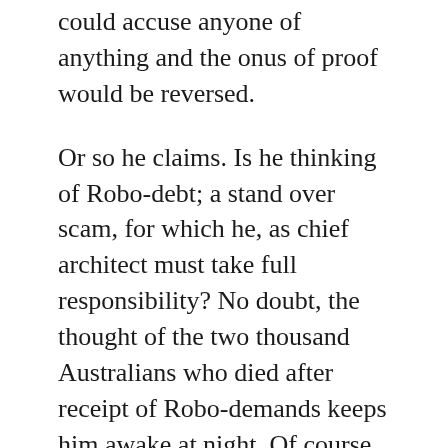could accuse anyone of anything and the onus of proof would be reversed.
Or so he claims. Is he thinking of Robo-debt; a stand over scam, for which he, as chief architect must take full responsibility? No doubt, the thought of the two thousand Australians who died after receipt of Robo-demands keeps him awake at night. Of course, not all of these committed suicide but it must surely vex his conscience.
Fellow barfly, and Big Swinging Dick, (BSD) acting Immigration Minister, Alan Tudge, also owes Morrison. Both Tudge and Porter were